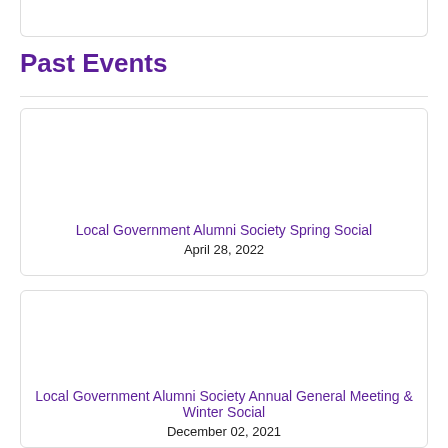Past Events
Local Government Alumni Society Spring Social
April 28, 2022
Local Government Alumni Society Annual General Meeting & Winter Social
December 02, 2021